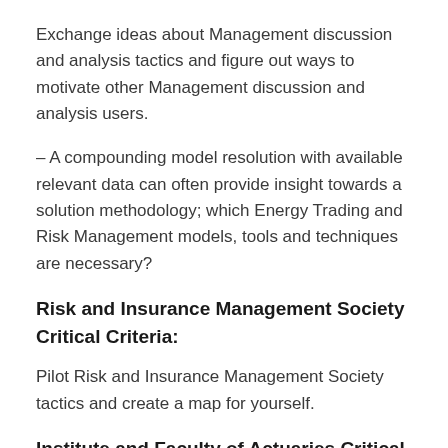Exchange ideas about Management discussion and analysis tactics and figure out ways to motivate other Management discussion and analysis users.
– A compounding model resolution with available relevant data can often provide insight towards a solution methodology; which Energy Trading and Risk Management models, tools and techniques are necessary?
Risk and Insurance Management Society Critical Criteria:
Pilot Risk and Insurance Management Society tactics and create a map for yourself.
Institute and Faculty of Actuaries Critical Criteria: